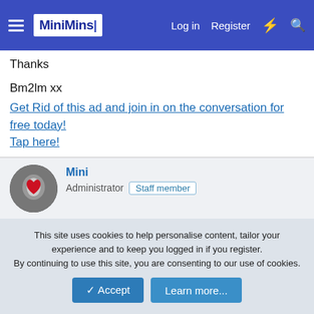MiniMins | Log in | Register
Thanks
Bm2lm xx
Get Rid of this ad and join in on the conversation for free today! Tap here!
Mini
Administrator | Staff member
S: 18st3lb
13 February 2007    #2
One mini pack of pringles is not going to put on weight but it
This site uses cookies to help personalise content, tailor your experience and to keep you logged in if you register.
By continuing to use this site, you are consenting to our use of cookies.
Accept  Learn more...